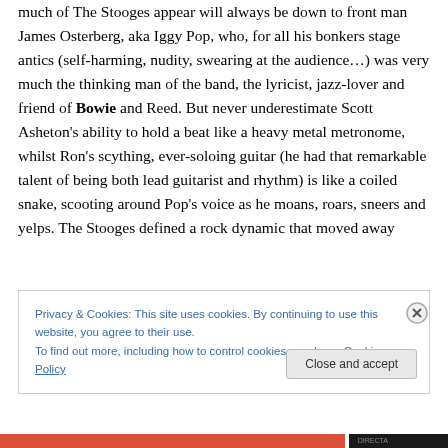much of The Stooges appeal will always be down to front man James Osterberg, aka Iggy Pop, who, for all his bonkers stage antics (self-harming, nudity, swearing at the audience…) was very much the thinking man of the band, the lyricist, jazz-lover and friend of Bowie and Reed. But never underestimate Scott Asheton's ability to hold a beat like a heavy metal metronome, whilst Ron's scything, ever-soloing guitar (he had that remarkable talent of being both lead guitarist and rhythm) is like a coiled snake, scooting around Pop's voice as he moans, roars, sneers and yelps. The Stooges defined a rock dynamic that moved away
Privacy & Cookies: This site uses cookies. By continuing to use this website, you agree to their use.
To find out more, including how to control cookies, see here: Cookie Policy